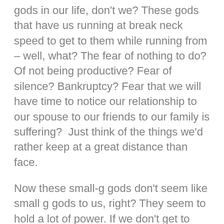gods in our life, don't we? These gods that have us running at break neck speed to get to them while running from – well, what? The fear of nothing to do? Of not being productive? Fear of silence? Bankruptcy? Fear that we will have time to notice our relationship to our spouse to our friends to our family is suffering?  Just think of the things we'd rather keep at a great distance than face.
Now these small-g gods don't seem like small g gods to us, right? They seem to hold a lot of power. If we don't get to practice, we don't play. If we don't make more money, we lose the house. If we don't fill up our